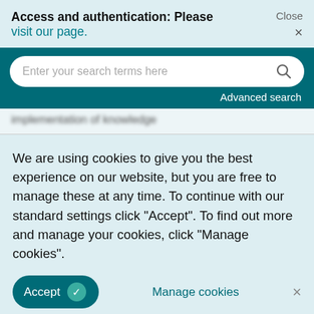Access and authentication: Please visit our page. Close ×
[Figure (screenshot): Search bar with placeholder text 'Enter your search terms here' and a search icon, on a dark teal background, with 'Advanced search' link below]
We are using cookies to give you the best experience on our website, but you are free to manage these at any time. To continue with our standard settings click "Accept". To find out more and manage your cookies, click "Manage cookies".
Accept ✓   Manage cookies   ×
development projects", International Journal of